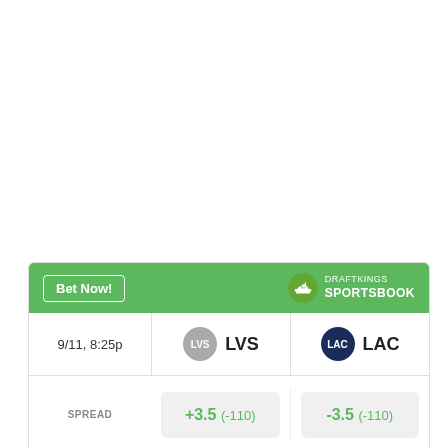[Figure (other): DraftKings Sportsbook betting widget showing LVS vs LAC matchup on 9/11 8:25p with spread and money line odds]
|  | LVS | LAC |
| --- | --- | --- |
| 9/11, 8:25p | LVS | LAC |
| SPREAD | +3.5 (-110) | -3.5 (-110) |
| MONEY LINE | +155 | -180 |